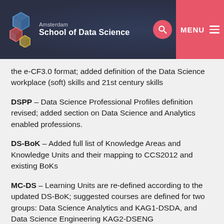Amsterdam School of Data Science
the e-CF3.0 format; added definition of the Data Science workplace (soft) skills and 21st century skills
DSPP – Data Science Professional Profiles definition revised; added section on Data Science and Analytics enabled professions.
DS-BoK – Added full list of Knowledge Areas and Knowledge Units and their mapping to CCS2012 and existing BoKs
MC-DS – Learning Units are re-defined according to the updated DS-BoK; suggested courses are defined for two groups: Data Science Analytics and KAG1-DSDA, and Data Science Engineering KAG2-DSENG